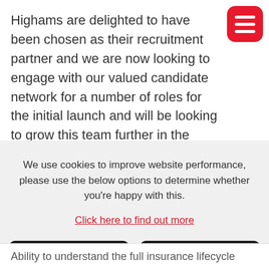Highams are delighted to have been chosen as their recruitment partner and we are now looking to engage with our valued candidate network for a number of roles for the initial launch and will be looking to grow this team further in the coming 12 months
[Figure (other): Red rounded square menu/hamburger icon button with three white horizontal lines]
We use cookies to improve website performance, please use the below options to determine whether you're happy with this.
Click here to find out more
I'm OK with that
Decline All
Ability to understand the full insurance lifecycle